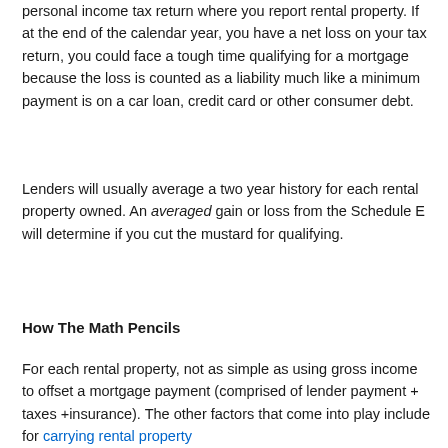personal income tax return where you report rental property. If at the end of the calendar year, you have a net loss on your tax return, you could face a tough time qualifying for a mortgage because the loss is counted as a liability much like a minimum payment is on a car loan, credit card or other consumer debt.
Lenders will usually average a two year history for each rental property owned. An averaged gain or loss from the Schedule E will determine if you cut the mustard for qualifying.
How The Math Pencils
For each rental property, not as simple as using gross income to offset a mortgage payment (comprised of lender payment + taxes +insurance). The other factors that come into play include for carrying rental property